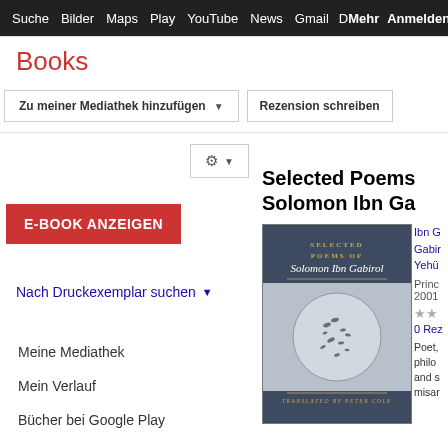Suche Bilder Maps Play YouTube News Gmail Mehr Anmelden
Books
Zu meiner Mediathek hinzufügen
Rezension schreiben
E-BOOK ANZEIGEN
Nach Druckexemplar suchen
Meine Mediathek
Mein Verlauf
Bücher bei Google Play
[Figure (photo): Book cover of Selected Poems of Solomon Ibn Gabirol, translated by Peter Cole, Princeton University Press]
Selected Poems of Solomon Ibn Ga
Ibn G Gabirol Yehü
Princ 2001
0 Rez
Poet, philos and s misar